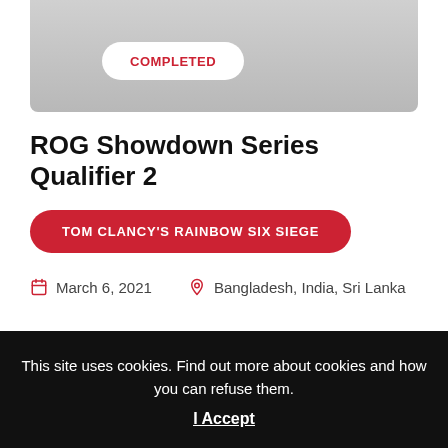[Figure (other): Gray gradient banner image area at top of page]
COMPLETED
ROG Showdown Series Qualifier 2
TOM CLANCY'S RAINBOW SIX SIEGE
March 6, 2021   Bangladesh, India, Sri Lanka
Welcome to the Asus ROG Showdown Series Qualifier 2 for Rainbow Six Siege supported by Ubisoft The ROG Showdown Series encourages the gamers to
This site uses cookies. Find out more about cookies and how you can refuse them. I Accept